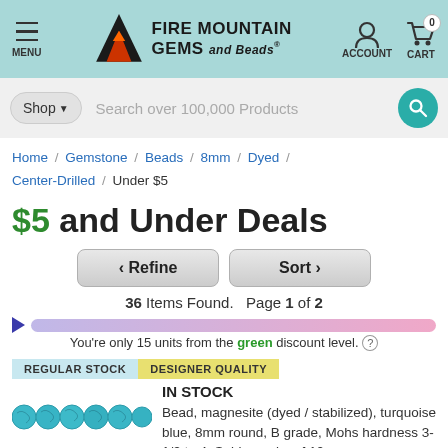Fire Mountain Gems and Beads — MENU | ACCOUNT | CART 0
Search over 100,000 Products
Home / Gemstone / Beads / 8mm / Dyed / Center-Drilled / Under $5
$5 and Under Deals
< Refine   Sort >
36 Items Found.  Page 1 of 2
You're only 15 units from the green discount level.
REGULAR STOCK   DESIGNER QUALITY
IN STOCK
Bead, magnesite (dyed / stabilized), turquoise blue, 8mm round, B grade, Mohs hardness 3-1/2 to 4. Sold per pkg of 10.